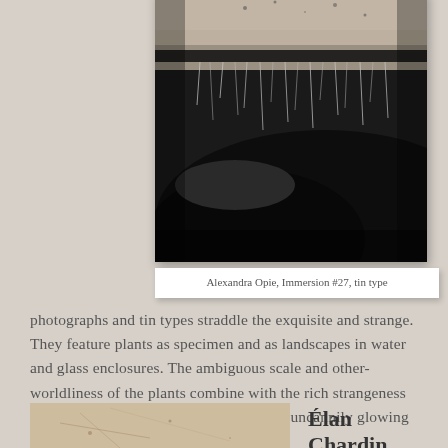[Figure (photo): Black and white tintype photograph by Alexandra Opie titled Immersion #27. Shows an abstract dark image with dripping or hanging forms against a light background, icicle-like streaks visible.]
Alexandra Opie, Immersion #27, tin type
photographs and tin types straddle the exquisite and strange. They feature plants as specimen and as landscapes in water and glass enclosures. The ambiguous scale and other-worldliness of the plants combine with the rich strangeness of tintype and wet collodion to create an uncannily glowing atmosphere.
[Figure (photo): Partial view of a second photograph, appearing aged or stained, with thin drawn or painted lines visible on a light background.]
Élan Chardin